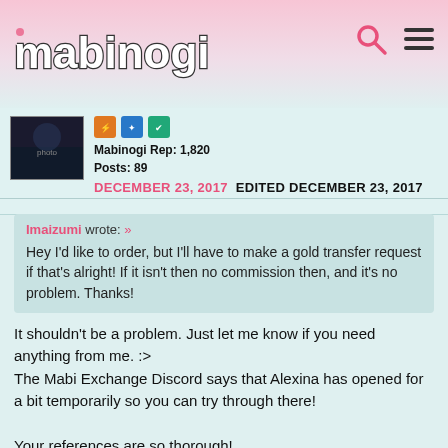mabinogi
Mabinogi Rep: 1,820
Posts: 89
DECEMBER 23, 2017   EDITED DECEMBER 23, 2017
Imaizumi wrote: »
Hey I'd like to order, but I'll have to make a gold transfer request if that's alright! If it isn't then no commission then, and it's no problem. Thanks!
It shouldn't be a problem. Just let me know if you need anything from me. :>
The Mabi Exchange Discord says that Alexina has opened for a bit temporarily so you can try through there!

Your references are so thorough!
I'll start on it today. I will send you progress pictures through the forum messages if that's okay!